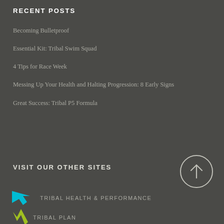RECENT POSTS
Becoming Bulletproof
Essential Kit: Tribal Swim Squad
4 Tips for Race Week
Messing Up Your Health and Halting Progression: 8 Early Signs
Great Success: Tribal P5 Formula
VISIT OUR OTHER SITES
[Figure (logo): Cyan arrow logo for Tribal Health & Performance]
TRIBAL HEALTH & PERFORMANCE
[Figure (logo): Lime green checkmark/arrow logo for Tribal Plan]
TRIBAL PLAN